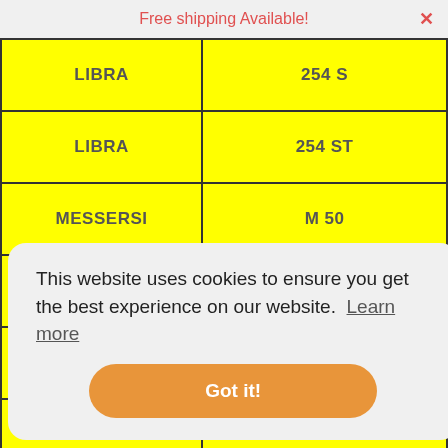Free shipping Available!
| Brand | Model |
| --- | --- |
| LIBRA | 254 S |
| LIBRA | 254 ST |
| MESSERSI | M 50 |
| MESSERSI | M 50P |
| MITSUBISHI | MM 45 B |
| MITSUBISHI | MM 55 SR |
This website uses cookies to ensure you get the best experience on our website. Learn more
Got it!